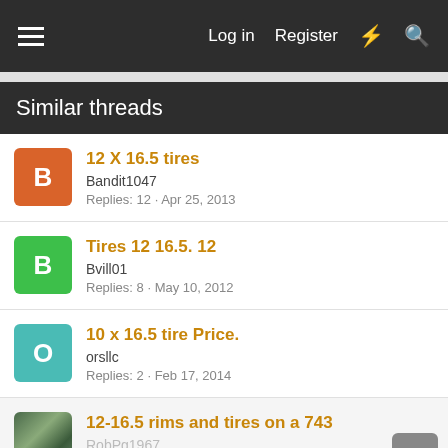Log in  Register
Similar threads
12 X 16.5 tires
Bandit1047
Replies: 12 · Apr 25, 2013
Tires 12 16.5. 12
Bvill01
Replies: 8 · May 10, 2012
10 x 16.5 tire Price.
orsllc
Replies: 2 · Feb 17, 2014
12-16.5 rims and tires on a 743
RobPg1967
Replies: 3 · May 15, 2011